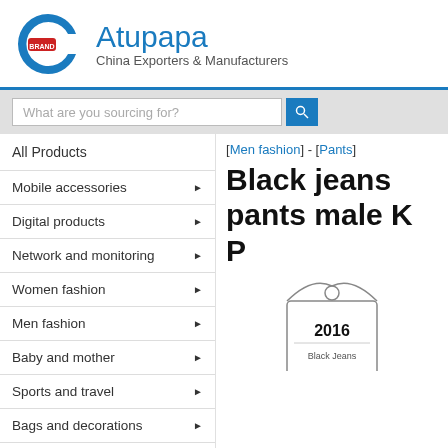Atupapa — China Exporters & Manufacturers
What are you sourcing for?
All Products
Mobile accessories
Digital products
Network and monitoring
Women fashion
Men fashion
Baby and mother
Sports and travel
Bags and decorations
Wig and beauty
Home and office
Health
[Men fashion] - [Pants]
Black jeans pants male K
[Figure (photo): Product image with hangtag showing price/details for black jeans]